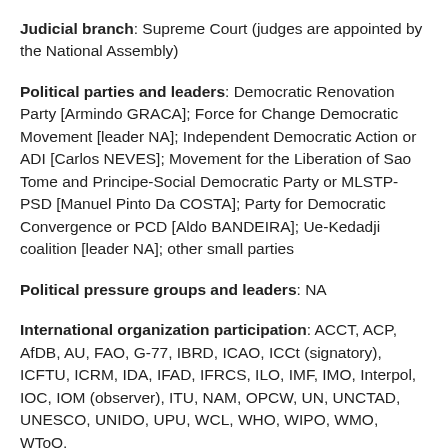Judicial branch: Supreme Court (judges are appointed by the National Assembly)
Political parties and leaders: Democratic Renovation Party [Armindo GRACA]; Force for Change Democratic Movement [leader NA]; Independent Democratic Action or ADI [Carlos NEVES]; Movement for the Liberation of Sao Tome and Principe-Social Democratic Party or MLSTP-PSD [Manuel Pinto Da COSTA]; Party for Democratic Convergence or PCD [Aldo BANDEIRA]; Ue-Kedadji coalition [leader NA]; other small parties
Political pressure groups and leaders: NA
International organization participation: ACCT, ACP, AfDB, AU, FAO, G-77, IBRD, ICAO, ICCt (signatory), ICFTU, ICRM, IDA, IFAD, IFRCS, ILO, IMF, IMO, Interpol, IOC, IOM (observer), ITU, NAM, OPCW, UN, UNCTAD, UNESCO, UNIDO, UPU, WCL, WHO, WIPO, WMO, WToO,